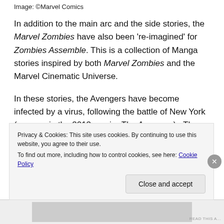Image: ©Marvel Comics
In addition to the main arc and the side stories, the Marvel Zombies have also been 're-imagined' for Zombies Assemble. This is a collection of Manga stories inspired by both Marvel Zombies and the Marvel Cinematic Universe.
In these stories, the Avengers have become infected by a virus, following the battle of New York (as seen in the 2012 movie, The Avengers).  The virus turns various members of the team into zombie-like creatures.
These stories have NOTHING to do with the previous
Privacy & Cookies: This site uses cookies. By continuing to use this website, you agree to their use.
To find out more, including how to control cookies, see here: Cookie Policy

Close and accept